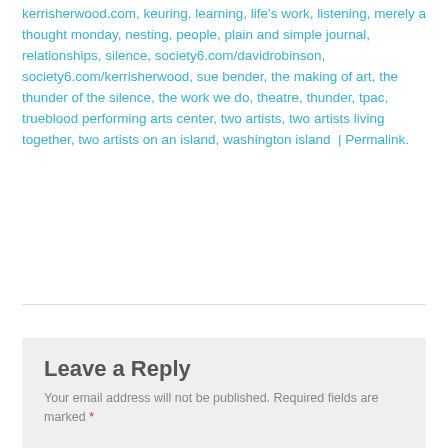kerrisherwood.com, keuring, learning, life's work, listening, merely a thought monday, nesting, people, plain and simple journal, relationships, silence, society6.com/davidrobinson, society6.com/kerrisherwood, sue bender, the making of art, the thunder of the silence, the work we do, theatre, thunder, tpac, trueblood performing arts center, two artists, two artists living together, two artists on an island, washington island | Permalink.
Leave a Reply
Your email address will not be published. Required fields are marked *
Comment *